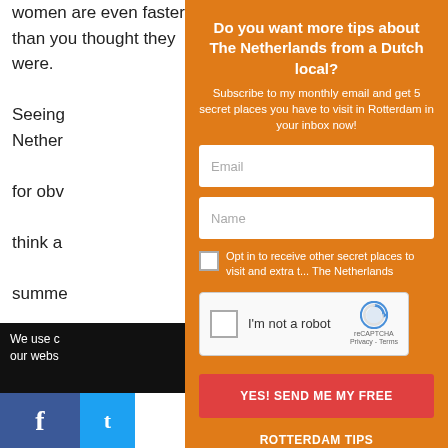women are even faster than you thought they were.
Seeing ... Netherlands ... for obvious ... think about ... summer ... Dutch s... This sp... most fa...
We use c... our webs...
Do you want more tips about The Netherlands from a Dutch local?
Subscribe to my monthly email and get 5 secret places you have to visit in Rotterdam in your inbox now!
Email
Name
Opt in to receive other secret places to visit and extra tips about The Netherlands
I'm not a robot
YES! SEND ME MY FREE ROTTERDAM TIPS